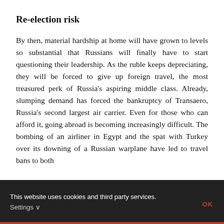Re-election risk
By then, material hardship at home will have grown to levels so substantial that Russians will finally have to start questioning their leadership. As the ruble keeps depreciating, they will be forced to give up foreign travel, the most treasured perk of Russia's aspiring middle class. Already, slumping demand has forced the bankruptcy of Transaero, Russia's second largest air carrier. Even for those who can afford it, going abroad is becoming increasingly difficult. The bombing of an airliner in Egypt and the spat with Turkey over its downing of a Russian warplane have led to travel bans to both
This website uses cookies and third party services. Settings ∨ OK